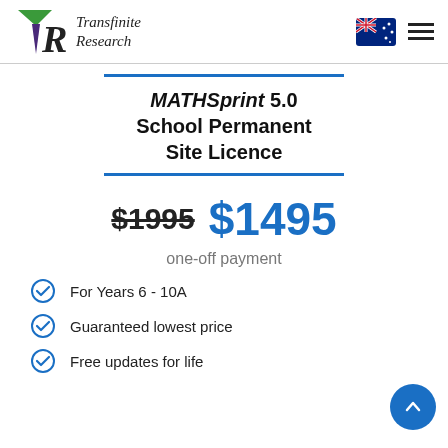[Figure (logo): Transfinite Research logo with green triangle and dark purple R symbol]
Transfinite Research
[Figure (illustration): Australian flag emoji]
MATHSprint 5.0 School Permanent Site Licence
$1995  $1495
one-off payment
For Years 6 - 10A
Guaranteed lowest price
Free updates for life